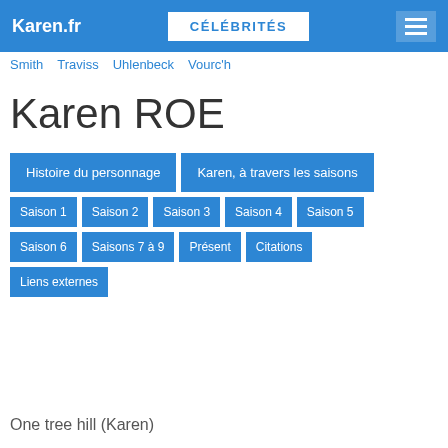Karen.fr | CÉLÉBRITÉS
Smith  Traviss  Uhlenbeck  Vourc'h
Karen ROE
Histoire du personnage
Karen, à travers les saisons
Saison 1
Saison 2
Saison 3
Saison 4
Saison 5
Saison 6
Saisons 7 à 9
Présent
Citations
Liens externes
One tree hill (Karen)